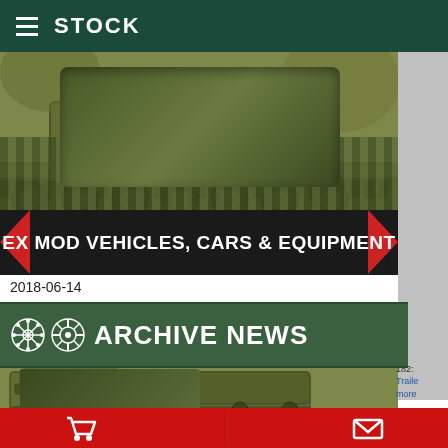STOCK
[Figure (photo): Military tracked vehicle (tank) top half showing tracks and wheels, olive/sepia tone]
EX MOD VEHICLES, CARS & EQUIPMENT
2018-06-14
ARCHIVE NEWS
[Figure (photo): Military tracked APC/MLRS vehicle with canvas cover, olive/sepia tone, side view]
182: Traile more